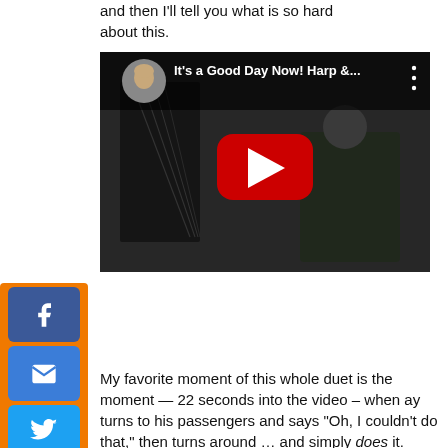and then I'll tell you what is so hard about this.
[Figure (screenshot): YouTube video embed thumbnail showing two musicians with a harp in an outdoor setting. The video title reads 'It's a Good Day Now! Harp &...' with a circular avatar of a woman with white hair. A red YouTube play button is centered on the thumbnail.]
My favorite moment of this whole duet is the moment — 22 seconds into the video – when ay turns to his passengers and says “Oh, I couldn’t do that,” then turns around … and simply does it.